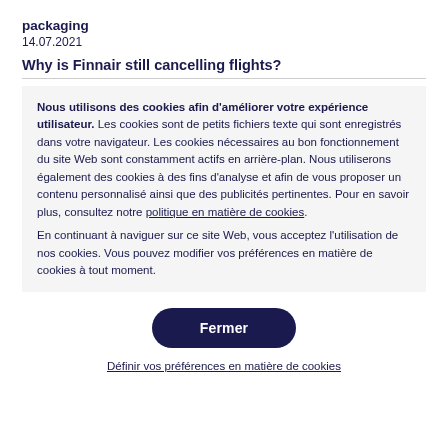packaging
14.07.2021
Why is Finnair still cancelling flights?
Nous utilisons des cookies afin d'améliorer votre expérience utilisateur. Les cookies sont de petits fichiers texte qui sont enregistrés dans votre navigateur. Les cookies nécessaires au bon fonctionnement du site Web sont constamment actifs en arrière-plan. Nous utiliserons également des cookies à des fins d'analyse et afin de vous proposer un contenu personnalisé ainsi que des publicités pertinentes. Pour en savoir plus, consultez notre politique en matière de cookies.
En continuant à naviguer sur ce site Web, vous acceptez l'utilisation de nos cookies. Vous pouvez modifier vos préférences en matière de cookies à tout moment.
Fermer
Définir vos préférences en matière de cookies